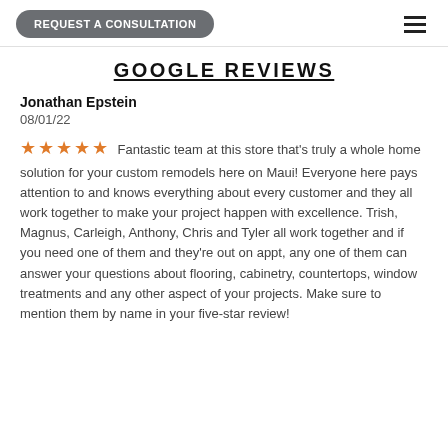REQUEST A CONSULTATION
GOOGLE REVIEWS
Jonathan Epstein
08/01/22
★★★★★ Fantastic team at this store that's truly a whole home solution for your custom remodels here on Maui! Everyone here pays attention to and knows everything about every customer and they all work together to make your project happen with excellence. Trish, Magnus, Carleigh, Anthony, Chris and Tyler all work together and if you need one of them and they're out on appt, any one of them can answer your questions about flooring, cabinetry, countertops, window treatments and any other aspect of your projects. Make sure to mention them by name in your five-star review!